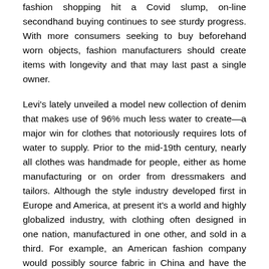fashion shopping hit a Covid slump, on-line secondhand buying continues to see sturdy progress. With more consumers seeking to buy beforehand worn objects, fashion manufacturers should create items with longevity and that may last past a single owner.
Levi's lately unveiled a model new collection of denim that makes use of 96% much less water to create—a major win for clothes that notoriously requires lots of water to supply. Prior to the mid-19th century, nearly all clothes was handmade for people, either as home manufacturing or on order from dressmakers and tailors. Although the style industry developed first in Europe and America, at present it's a world and highly globalized industry, with clothing often designed in one nation, manufactured in one other, and sold in a third. For example, an American fashion company would possibly source fabric in China and have the garments manufactured in Vietnam, completed in Italy, and shipped to a warehouse within the United States for distribution to retail outlets internationally. The fashion industry has long been one of many largest employers within the United States, and it remains so within the present-first century.